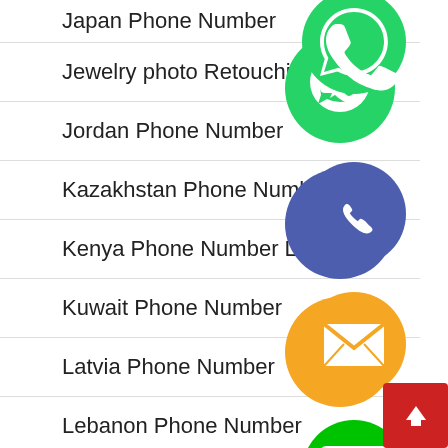Japan Phone Number
Jewelry photo Retouching Service
Jordan Phone Number
Kazakhstan Phone Number
Kenya Phone Number L...
Kuwait Phone Number
Latvia Phone Number
Lebanon Phone Number
List of Real Mobile Phone Numbers
[Figure (screenshot): Floating social/contact icons: WhatsApp (green), phone/Viber (purple-blue), email (orange), LINE (green), Viber (purple), close (green X) arranged vertically in center-right of page]